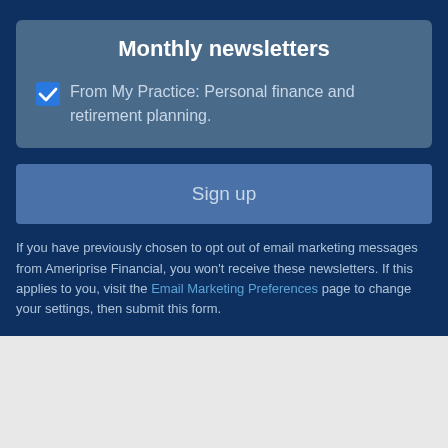Monthly newsletters
From My Practice: Personal finance and retirement planning.
Sign up
If you have previously chosen to opt out of email marketing messages from Ameriprise Financial, you won't receive these newsletters. If this applies to you, visit the Email Marketing Preferences page to change your settings, then submit this form.